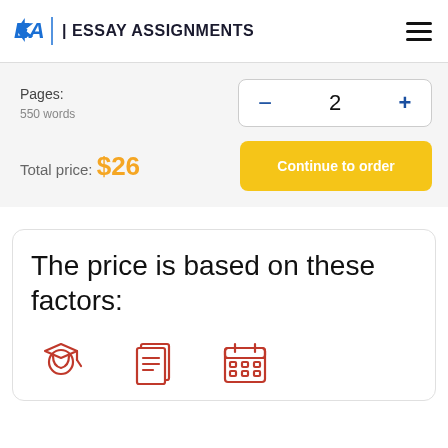EA | ESSAY ASSIGNMENTS
Pages: 550 words
2
Total price: $26
Continue to order
The price is based on these factors:
[Figure (illustration): Three red outline icons at bottom: graduation cap (academic level), document with lines (pages/type), and calendar grid (deadline)]